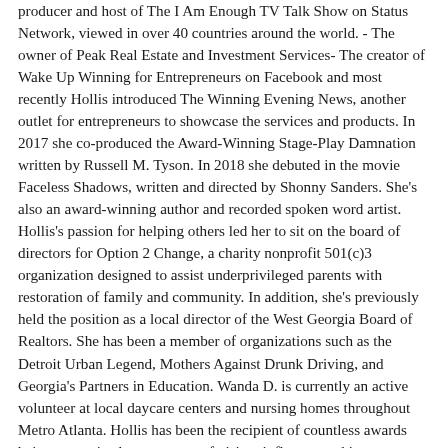producer and host of The I Am Enough TV Talk Show on Status Network, viewed in over 40 countries around the world. - The owner of Peak Real Estate and Investment Services- The creator of Wake Up Winning for Entrepreneurs on Facebook and most recently Hollis introduced The Winning Evening News, another outlet for entrepreneurs to showcase the services and products. In 2017 she co-produced the Award-Winning Stage-Play Damnation written by Russell M. Tyson. In 2018 she debuted in the movie Faceless Shadows, written and directed by Shonny Sanders. She's also an award-winning author and recorded spoken word artist. Hollis's passion for helping others led her to sit on the board of directors for Option 2 Change, a charity nonprofit 501(c)3 organization designed to assist underprivileged parents with restoration of family and community. In addition, she's previously held the position as a local director of the West Georgia Board of Realtors. She has been a member of organizations such as the Detroit Urban Legend, Mothers Against Drunk Driving, and Georgia's Partners in Education. Wanda D. is currently an active volunteer at local daycare centers and nursing homes throughout Metro Atlanta. Hollis has been the recipient of countless awards being recognized as a woman of vision, influence and impact within her community. Helping others achieve their goals and dreams is The